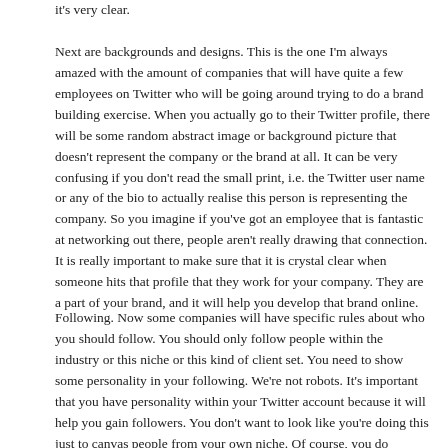it's very clear.
Next are backgrounds and designs. This is the one I'm always amazed with the amount of companies that will have quite a few employees on Twitter who will be going around trying to do a brand building exercise. When you actually go to their Twitter profile, there will be some random abstract image or background picture that doesn't represent the company or the brand at all. It can be very confusing if you don't read the small print, i.e. the Twitter user name or any of the bio to actually realise this person is representing the company. So you imagine if you've got an employee that is fantastic at networking out there, people aren't really drawing that connection. It is really important to make sure that it is crystal clear when someone hits that profile that they work for your company. They are a part of your brand, and it will help you develop that brand online.
Following. Now some companies will have specific rules about who you should follow. You should only follow people within the industry or this niche or this kind of client set. You need to show some personality in your following. We're not robots. It's important that you have personality within your Twitter account because it will help you gain followers. You don't want to look like you're doing this just to canvas people from your own niche. Of course, you do because you network with them and meet them and talk to them online, but it's just